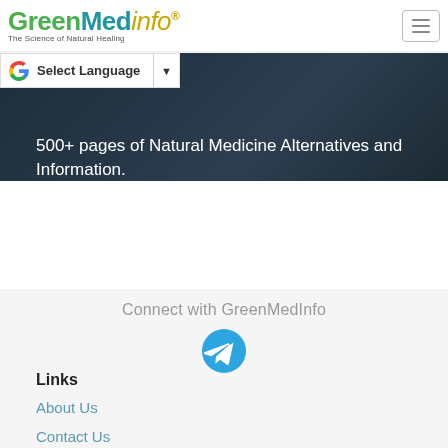GreenMedInfo — The Science of Natural Healing
Select Language
500+ pages of Natural Medicine Alternatives and Information.
Connect with GreenMedInfo
Links
About Us
Contact Us
Privacy Policy
Terms of Services